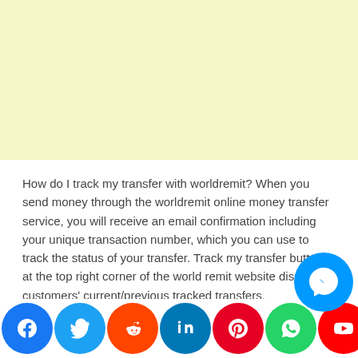[Figure (other): Light yellow advertisement banner placeholder]
How do I track my transfer with worldremit? When you send money through the worldremit online money transfer service, you will receive an email confirmation including your unique transaction number, which you can use to track the status of your transfer. Track my transfer button at the top right corner of the world remit website displays customers' current/previous tracked transfers.
How long does it take to receiv
[Figure (infographic): Social media sharing icons bar at bottom: Facebook (blue), Twitter (light blue), Reddit (orange), LinkedIn (dark blue), Pinterest (red), WhatsApp (green), YouTube (red), Gmail (multicolor), Instagram (gradient), Messenger (blue), Yahoo (purple). Also a larger Messenger bubble icon in bottom right area.]